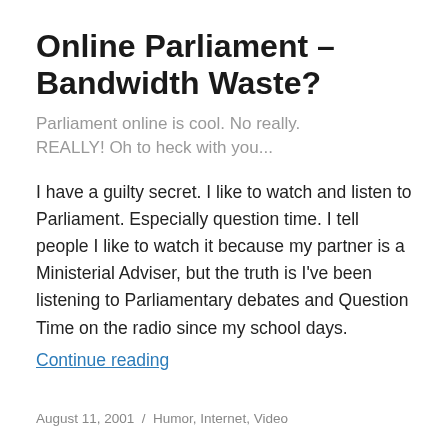Online Parliament – Bandwidth Waste?
Parliament online is cool. No really. REALLY! Oh to heck with you...
I have a guilty secret. I like to watch and listen to Parliament. Especially question time. I tell people I like to watch it because my partner is a Ministerial Adviser, but the truth is I've been listening to Parliamentary debates and Question Time on the radio since my school days.
Continue reading
August 11, 2001  /  Humor, Internet, Video